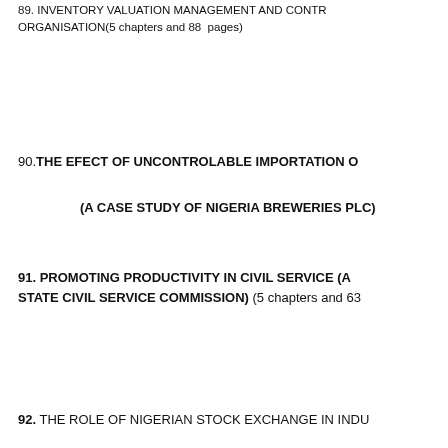89. INVENTORY VALUATION MANAGEMENT AND CONTR... ORGANISATION(5 chapters and 88 pages)
90. THE EFECT OF UNCONTROLABLE IMPORTATION O...
(A CASE STUDY OF NIGERIA BREWERIES PLC)
91. PROMOTING PRODUCTIVITY IN CIVIL SERVICE (A... STATE CIVIL SERVICE COMMISSION) (5 chapters and 63 ...
92. THE ROLE OF NIGERIAN STOCK EXCHANGE IN INDU...